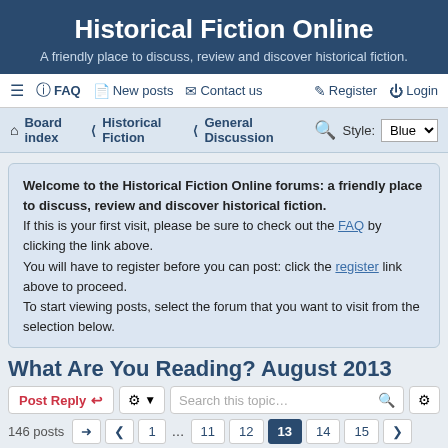Historical Fiction Online
A friendly place to discuss, review and discover historical fiction.
≡  FAQ  New posts  Contact us   Register  Login
Board index  ‹  Historical Fiction  ‹  General Discussion   Style: Blue
Welcome to the Historical Fiction Online forums: a friendly place to discuss, review and discover historical fiction. If this is your first visit, please be sure to check out the FAQ by clicking the link above. You will have to register before you can post: click the register link above to proceed. To start viewing posts, select the forum that you want to visit from the selection below.
What Are You Reading? August 2013
Post Reply  [tools]  Search this topic...  146 posts  1 ... 11 12 13 14 15
annis
Bibliomaniac